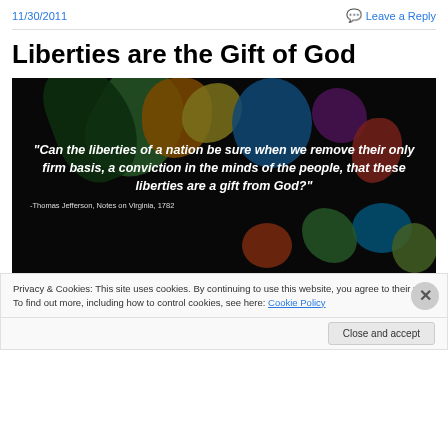11/30/2011   Leave a Reply
Liberties are the Gift of God
[Figure (illustration): Dark background with colorful abstract art and white bold italic text reading: "Can the liberties of a nation be sure when we remove their only firm basis, a conviction in the minds of the people, that these liberties are a gift from God?" with attribution: -Thomas Jefferson, Notes on Virginia, 1782]
Privacy & Cookies: This site uses cookies. By continuing to use this website, you agree to their use.
To find out more, including how to control cookies, see here: Cookie Policy
Close and accept